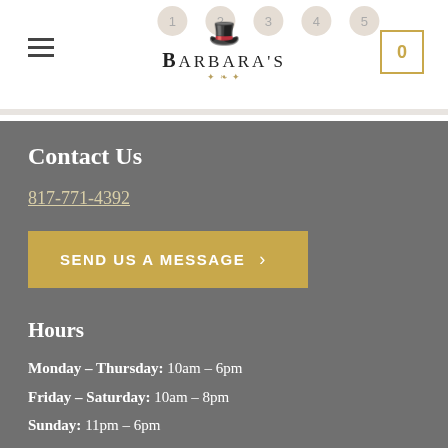Barbara's — navigation header with logo, hamburger menu, cart (0)
Contact Us
817-771-4392
SEND US A MESSAGE >
Hours
Monday – Thursday: 10am – 6pm
Friday – Saturday: 10am – 8pm
Sunday: 11pm – 6pm